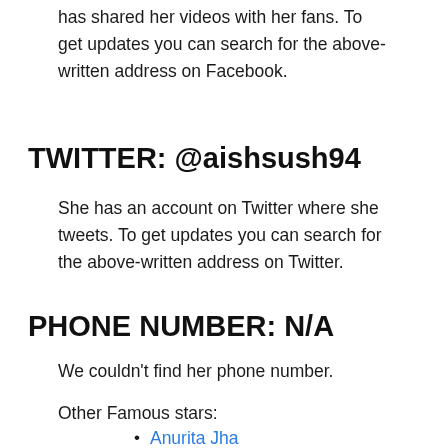has shared her videos with her fans. To get updates you can search for the above-written address on Facebook.
TWITTER: @aishsush94
She has an account on Twitter where she tweets. To get updates you can search for the above-written address on Twitter.
PHONE NUMBER: N/A
We couldn't find her phone number.
Other Famous stars:
Anurita Jha
Chhavi Pandey